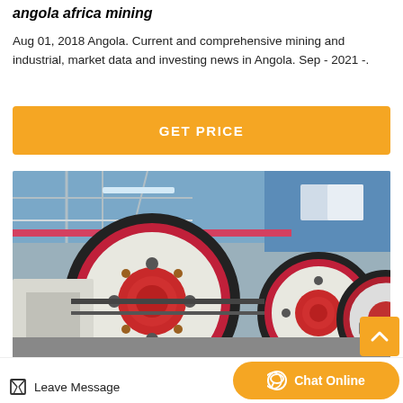angola africa mining
Aug 01, 2018 Angola. Current and comprehensive mining and industrial, market data and investing news in Angola. Sep - 2021 -.
[Figure (other): Orange 'GET PRICE' button]
[Figure (photo): Industrial mining machinery with large white flywheels with red and black rubber rings, photographed in a factory setting with blue steel framework in background]
[Figure (other): Orange scroll-to-top button with upward arrow]
Leave Message
Chat Online